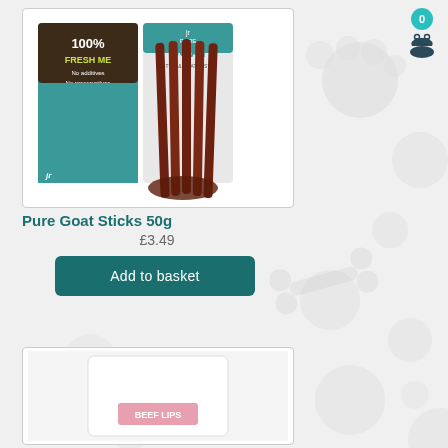[Figure (photo): Product photo of JR Pure Goat Sticks 50g — box packaging with teal and brown design labeled '100% Fresh Meat' alongside loose meat sticks]
Pure Goat Sticks 50g
£3.49
Add to basket
[Figure (photo): Partial product photo showing a small plastic bag with pink label reading 'BEEF LIPS']